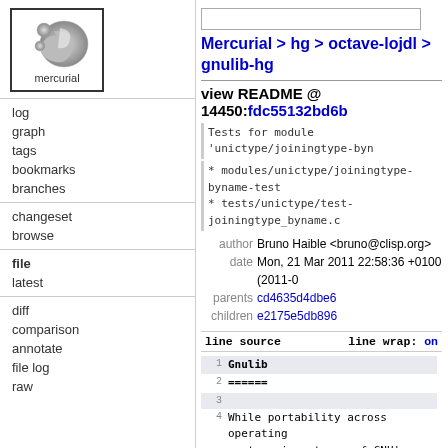[Figure (logo): Mercurial logo: grey swirling shape with 'mercurial' text below, in a bordered box]
log
graph
tags
bookmarks
branches
changeset
browse
file
latest
diff
comparison
annotate
file log
raw
Mercurial > hg > octave-lojdl > gnulib-hg
view README @ 14450:fdc55132bd6b
Tests for module 'unictype/joiningtype-byn
* modules/unictype/joiningtype-byname-test
* tests/unictype/test-joiningtype_byname.c
author Bruno Haible <bruno@clisp.org>
date Mon, 21 Mar 2011 22:58:36 +0100 (2011-0
parents cd4635d4dbe6
children e2175e5db896
| line source | line wrap: on |
| --- | --- |
| 1 | Gnulib |
| 2 | ====== |
| 3 |  |
| 4 | While portability across operating
systems is not one of GNU's
primary |
| 5 | goals, it has helped introduce |